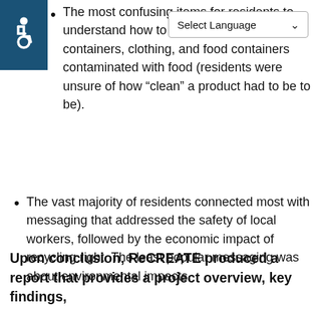The most confusing items for residents to understand how to recycle properly include: plastic bags, aseptic containers, clothing, and food containers contaminated with food (residents were unsure of how "clean" a product had to be to be).
The vast majority of residents connected most with messaging that addressed the safety of local workers, followed by the economic impact of recycling right. The least popular messaging was about environmental impacts.
Upon conclusion, ReCREATE produced a report that provides a project overview, key findings,